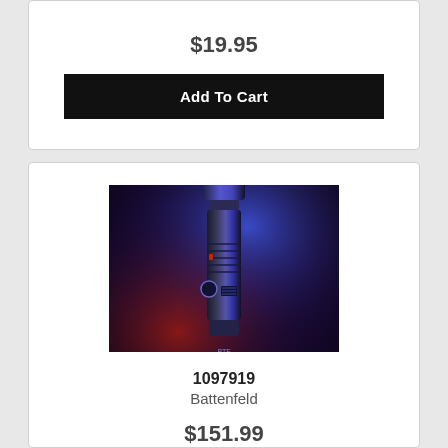$19.95
Add To Cart
[Figure (photo): A tactical flashlight photographed against a dark background with blue and red lighting highlights.]
1097919
Battenfeld
$151.99